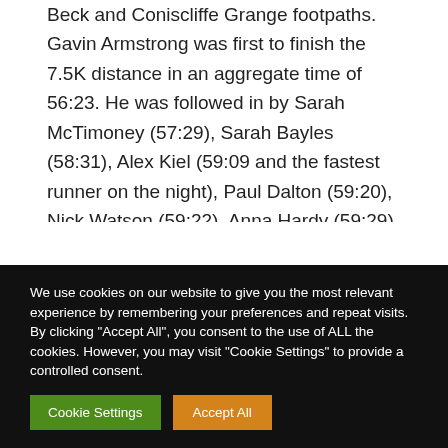Beck and Coniscliffe Grange footpaths. Gavin Armstrong was first to finish the 7.5K distance in an aggregate time of 56:23. He was followed in by Sarah McTimoney (57:29), Sarah Bayles (58:31), Alex Kiel (59:09 and the fastest runner on the night), Paul Dalton (59:20), Nick Watson (59:22), Anna Hardy (59:29), Allan Parsons (59:31), Andrew Dixon (59:40), Chris Minto (59:44), Dave Brown (59:46), Jane Jeffries (59:49), Jamie N... Andy Walk... Lis...
We use cookies on our website to give you the most relevant experience by remembering your preferences and repeat visits. By clicking "Accept All", you consent to the use of ALL the cookies. However, you may visit "Cookie Settings" to provide a controlled consent.